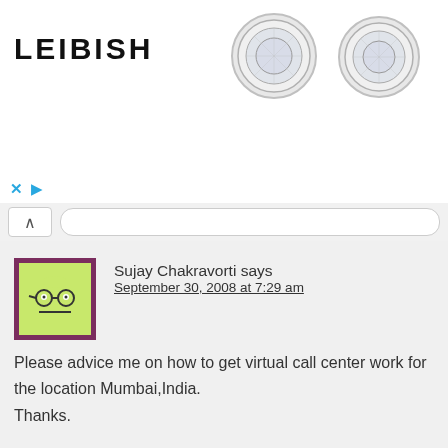[Figure (logo): LEIBISH logo text with two diamond earring images in bezel settings]
[Figure (screenshot): Browser ad control bar with X and play button icons in blue]
[Figure (screenshot): Browser UI bar with chevron up button and address bar]
Sujay Chakravorti says
September 30, 2008 at 7:29 am

Please advice me on how to get virtual call center work for the location Mumbai,India.
Thanks.
Reply